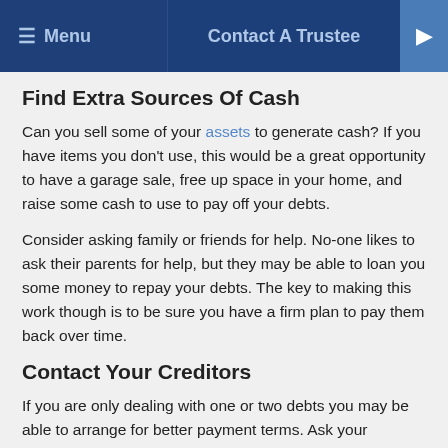Menu   Contact A Trustee
Find Extra Sources Of Cash
Can you sell some of your assets to generate cash? If you have items you don't use, this would be a great opportunity to have a garage sale, free up space in your home, and raise some cash to use to pay off your debts.
Consider asking family or friends for help. No-one likes to ask their parents for help, but they may be able to loan you some money to repay your debts. The key to making this work though is to be sure you have a firm plan to pay them back over time.
Contact Your Creditors
If you are only dealing with one or two debts you may be able to arrange for better payment terms. Ask your creditors (the people you owe money to) to give you a break. Ask your credit card company to lower the interest rate you are paying to help you pay